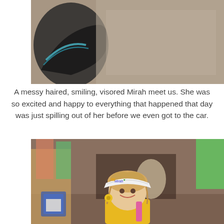[Figure (photo): Close-up photo showing a decorated visor/hat and carpet/floor texture in the background]
A messy haired, smiling, visored Mirah meet us. She was so excited and happy to everything that happened that day was just spilling out of her before we even got to the car.
[Figure (photo): A young blonde girl wearing a decorated paper visor and yellow jacket smiling in what appears to be a store or craft fair setting]